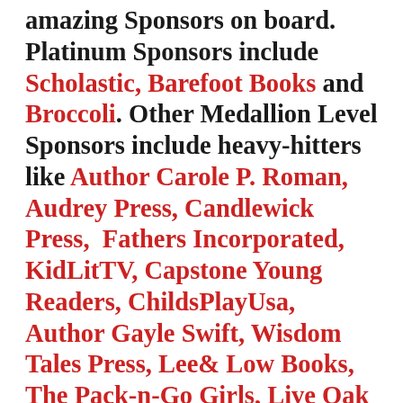amazing Sponsors on board. Platinum Sponsors include Scholastic, Barefoot Books and Broccoli. Other Medallion Level Sponsors include heavy-hitters like Author Carole P. Roman, Audrey Press, Candlewick Press, Fathers Incorporated, KidLitTV, Capstone Young Readers, ChildsPlayUsa, Author Gayle Swift, Wisdom Tales Press, Lee& Low Books, The Pack-n-Go Girls, Live Oak Media, Author Charlotte Riggle, Chronicle Books and Pomelo Books